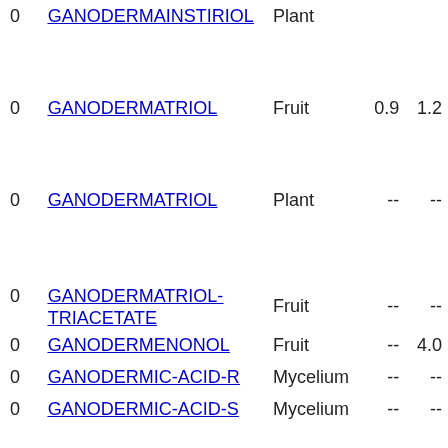|  | Name | Part | Val1 | Val2 |
| --- | --- | --- | --- | --- |
| 0 | GANODERMAINSTIRIOL | Plant |  |  |
| 0 | GANODERMATRIOL | Fruit | 0.9 | 1.2 |
| 0 | GANODERMATRIOL | Plant | -- | -- |
| 0 | GANODERMATRIOL-TRIACETATE | Fruit | -- | -- |
| 0 | GANODERMENONOL | Fruit | -- | 4.0 |
| 0 | GANODERMIC-ACID-R | Mycelium | -- | -- |
| 0 | GANODERMIC-ACID-S | Mycelium | -- | -- |